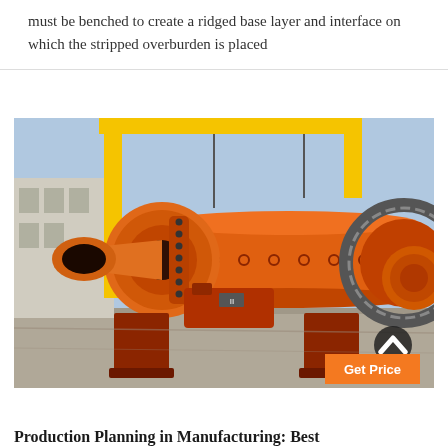must be benched to create a ridged base layer and interface on which the stripped overburden is placed
[Figure (photo): Large industrial orange ball mill machine on metal support stands in an outdoor factory yard, with yellow cranes visible in the background. A second ball mill is partially visible on the right.]
Get Price
Production Planning in Manufacturing: Best